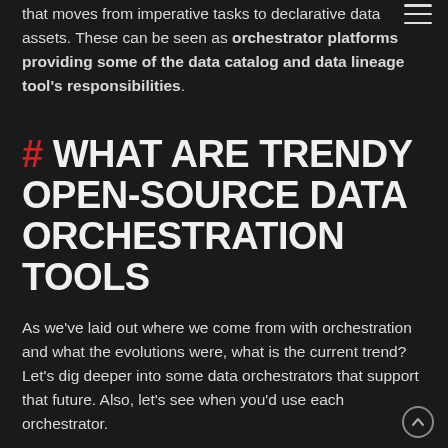that moves from imperative tasks to declarative data assets. These can be seen as orchestrator platforms providing some of the data catalog and data lineage tool's responsibilities.
# WHAT ARE TRENDY OPEN-SOURCE DATA ORCHESTRATION TOOLS
As we've laid out where we come from with orchestration and what the evolutions were, what is the current trend? Let's dig deeper into some data orchestrators that support that future. Also, let's see when you'd use each orchestrator.
The evolution shows that the most stable and widely used orchestrator is Apache Airflow. It's the base of